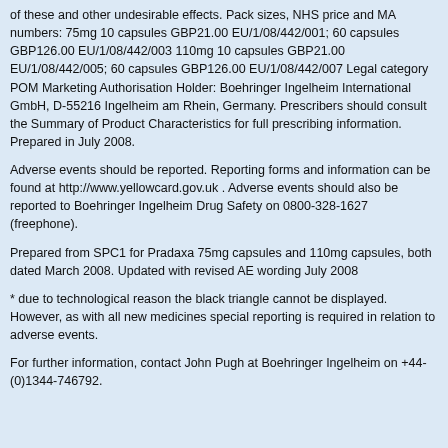of these and other undesirable effects. Pack sizes, NHS price and MA numbers: 75mg 10 capsules GBP21.00 EU/1/08/442/001; 60 capsules GBP126.00 EU/1/08/442/003 110mg 10 capsules GBP21.00 EU/1/08/442/005; 60 capsules GBP126.00 EU/1/08/442/007 Legal category POM Marketing Authorisation Holder: Boehringer Ingelheim International GmbH, D-55216 Ingelheim am Rhein, Germany. Prescribers should consult the Summary of Product Characteristics for full prescribing information. Prepared in July 2008.
Adverse events should be reported. Reporting forms and information can be found at http://www.yellowcard.gov.uk . Adverse events should also be reported to Boehringer Ingelheim Drug Safety on 0800-328-1627 (freephone).
Prepared from SPC1 for Pradaxa 75mg capsules and 110mg capsules, both dated March 2008. Updated with revised AE wording July 2008
* due to technological reason the black triangle cannot be displayed. However, as with all new medicines special reporting is required in relation to adverse events.
For further information, contact John Pugh at Boehringer Ingelheim on +44-(0)1344-746792.